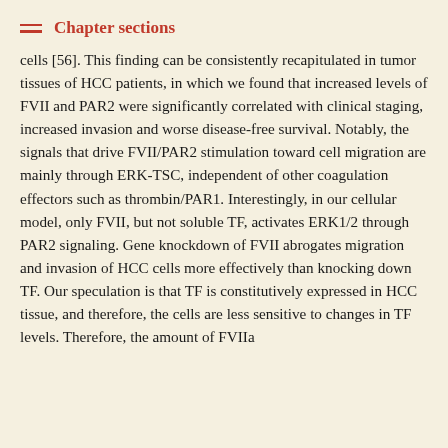Chapter sections
cells [56]. This finding can be consistently recapitulated in tumor tissues of HCC patients, in which we found that increased levels of FVII and PAR2 were significantly correlated with clinical staging, increased invasion and worse disease-free survival. Notably, the signals that drive FVII/PAR2 stimulation toward cell migration are mainly through ERK-TSC, independent of other coagulation effectors such as thrombin/PAR1. Interestingly, in our cellular model, only FVII, but not soluble TF, activates ERK1/2 through PAR2 signaling. Gene knockdown of FVII abrogates migration and invasion of HCC cells more effectively than knocking down TF. Our speculation is that TF is constitutively expressed in HCC tissue, and therefore, the cells are less sensitive to changes in TF levels. Therefore, the amount of FVIIa